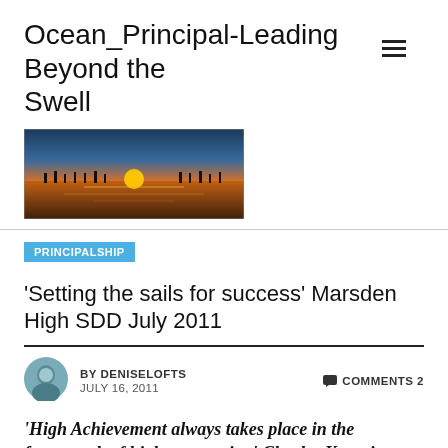Ocean_Principal-Leading Beyond the Swell
[Figure (photo): Sunset over the ocean with silhouettes of pier/dock structures and warm orange-pink sky reflected on water]
PRINCIPALSHIP
'Setting the sails for success' Marsden High SDD July 2011
BY DENISELOFTS   JULY 16, 2011   COMMENTS 2
'High Achievement always takes place in the framework of high expectation' Charles Kettering
[Figure (photo): Partial view of a framed certificate or award on a yellow/gold background]